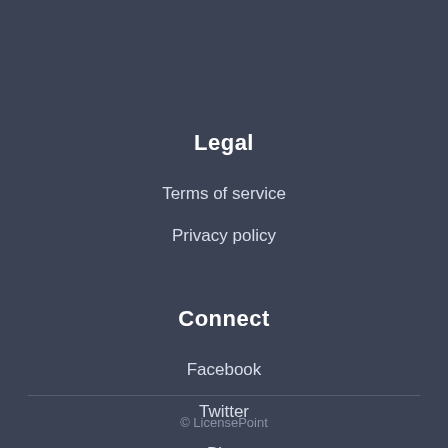Legal
Terms of service
Privacy policy
Connect
Facebook
Twitter
Blog
© LicensePoint